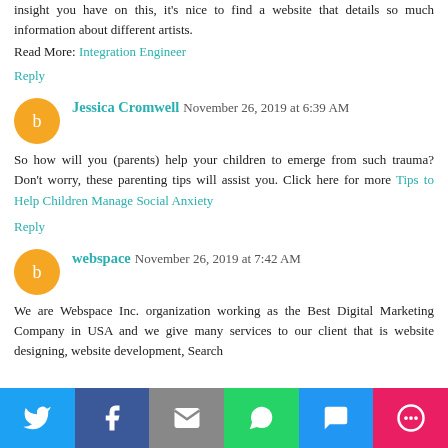insight you have on this, it's nice to find a website that details so much information about different artists.
Read More: Integration Engineer
Reply
Jessica Cromwell  November 26, 2019 at 6:39 AM
So how will you (parents) help your children to emerge from such trauma? Don't worry, these parenting tips will assist you. Click here for more Tips to Help Children Manage Social Anxiety
Reply
webspace  November 26, 2019 at 7:42 AM
We are Webspace Inc. organization working as the Best Digital Marketing Company in USA and we give many services to our client that is website designing, website development, Search
[Figure (infographic): Social share bar with Twitter, Facebook, Email, WhatsApp, SMS, and More buttons]